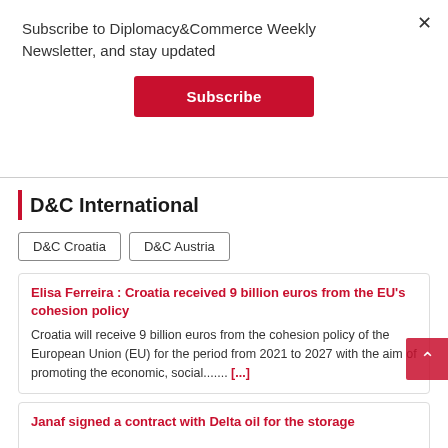Subscribe to Diplomacy&Commerce Weekly Newsletter, and stay updated
Subscribe
D&C International
D&C Croatia
D&C Austria
Elisa Ferreira : Croatia received 9 billion euros from the EU's cohesion policy
Croatia will receive 9 billion euros from the cohesion policy of the European Union (EU) for the period from 2021 to 2027 with the aim of promoting the economic, social....... [...]
Janaf signed a contract with Delta oil for the storage of the oil time...